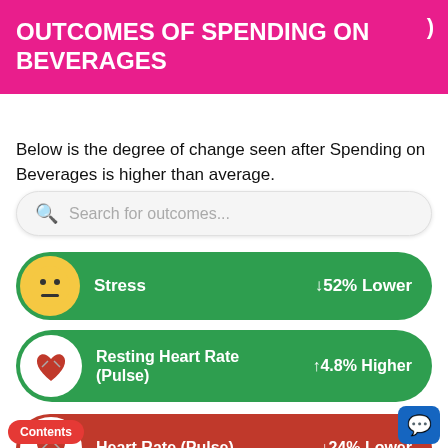OUTCOMES OF SPENDING ON BEVERAGES
Below is the degree of change seen after Spending on Beverages is higher than average.
Search for outcomes...
Stress — ↓52% Lower
Resting Heart Rate (Pulse) — ↑4.8% Higher
Heart Rate (Pulse) — ↓24% Lower